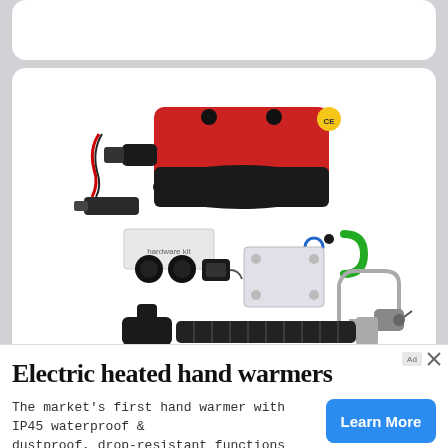[Figure (photo): Product photo of maXpeedingrods 12V 8KW Diesel Air Heater kit with silencer, showing the red and black heater unit and all included accessories laid out on white background]
maXpeedingrods 12V 8KW Diesel Air Heater with Sile
[Figure (other): Advertisement banner with title 'Electric heated hand warmers', body text 'The market's first hand warmer with IP45 waterproof & dustproof, drop-resistant functions Ocoopa Hand Warmer', and a 'Learn More' blue button]